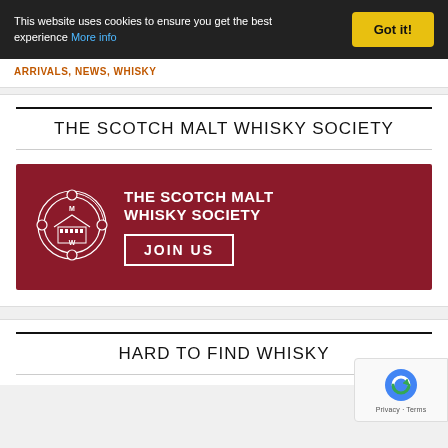This website uses cookies to ensure you get the best experience More info | Got it!
ARRIVALS, NEWS, WHISKY
THE SCOTCH MALT WHISKY SOCIETY
[Figure (logo): The Scotch Malt Whisky Society banner on dark red background with circular crest logo, text 'THE SCOTCH MALT WHISKY SOCIETY' and 'JOIN US' button with white border]
HARD TO FIND WHISKY